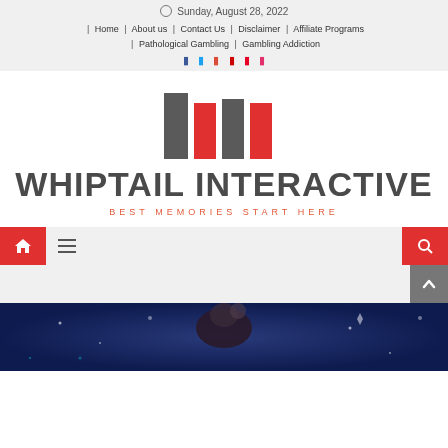Sunday, August 28, 2022
| Home | About us | Contact Us | Disclaimer | Affiliate Programs | Pathological Gambling | Gambling Addiction
[Figure (logo): Whiptail Interactive logo with alternating gray and red rectangular bar marks]
WHIPTAIL INTERACTIVE
BEST MEMORIES START HERE
[Figure (screenshot): Bottom navigation bar with red home button, hamburger menu, and red search button; scroll-to-top button; and partial hero image of a person with dark background and sparkles]